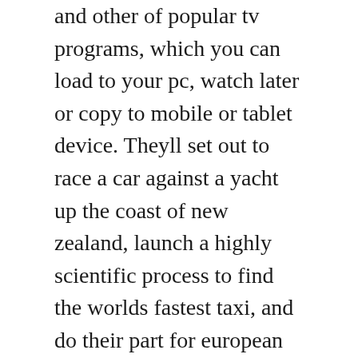and other of popular tv programs, which you can load to your pc, watch later or copy to mobile or tablet device. Theyll set out to race a car against a yacht up the coast of new zealand, launch a highly scientific process to find the worlds fastest taxi, and do their part for european economic turmoil by blasting across spain in three affordable supercars. The ultimate top gear torrent reddit exclusive all uk. They fought through the lower bracket, defeating ti5 champions and runnerups, evil geniuses and cdec gaming.
Now akatsuki, the mysterious organization of